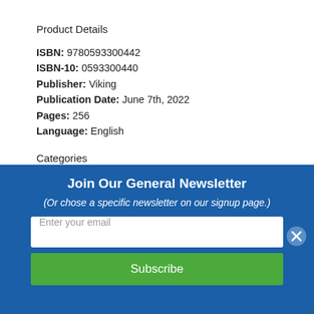Product Details
ISBN: 9780593300442
ISBN-10: 0593300440
Publisher: Viking
Publication Date: June 7th, 2022
Pages: 256
Language: English
Categories
Literary Collections / Essays
Family & Relationships / Parenting / Fatherhood
Biography & Autobiography /
Join Our General Newsletter
(Or chose a specific newsletter on our signup page.)
Enter your email
Subscribe